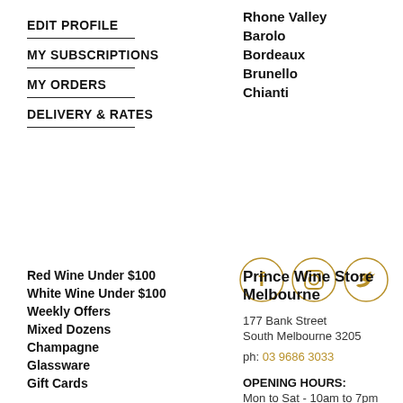EDIT PROFILE
MY SUBSCRIPTIONS
MY ORDERS
DELIVERY & RATES
Rhone Valley
Barolo
Bordeaux
Brunello
Chianti
[Figure (other): Social media icons: Facebook, Instagram, Twitter in gold circle outlines]
Red Wine Under $100
White Wine Under $100
Weekly Offers
Mixed Dozens
Champagne
Glassware
Gift Cards
Prince Wine Store Melbourne
177 Bank Street
South Melbourne 3205
ph: 03 9686 3033
OPENING HOURS:
Mon to Sat - 10am to 7pm